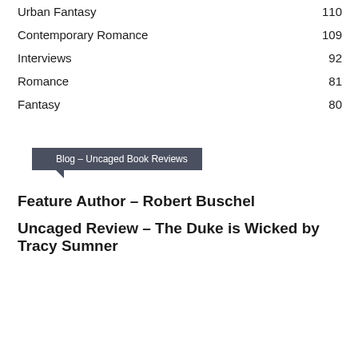Urban Fantasy 110
Contemporary Romance 109
Interviews 92
Romance 81
Fantasy 80
Blog – Uncaged Book Reviews
Feature Author – Robert Buschel
Uncaged Review – The Duke is Wicked by Tracy Sumner